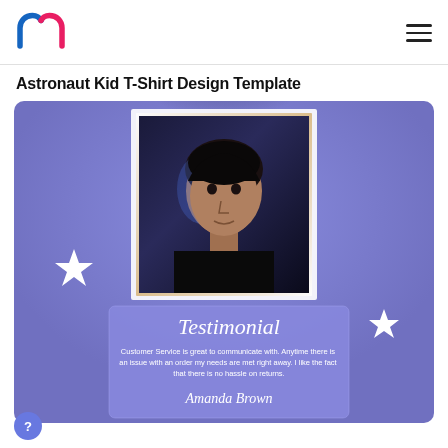m (logo) | hamburger menu
Astronaut Kid T-Shirt Design Template
[Figure (screenshot): A testimonial template card with a blue/purple gradient background. Features a portrait photo of a young woman with short dark hair against a dark background, framed in a white/gold rectangle. Below the photo is a semi-transparent blue testimonial card with 'Testimonial' in cursive script, followed by customer review text: 'Customer Service is great to communicate with. Anytime there is an issue with an order my needs are met right away. I like the fact that there is no hassle on returns.' Signed 'Amanda Brown' in cursive. White 4-pointed star decorations appear on both sides. A dark blurred circular shape appears at the top center behind the photo frame.]